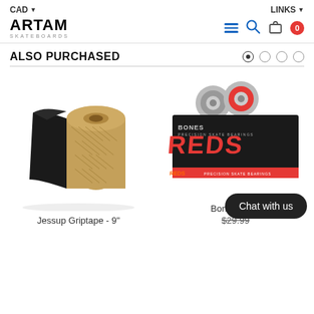CAD ▾   LINKS ▾
[Figure (logo): ARTAM Skateboards logo]
ALSO PURCHASED
[Figure (photo): Jessup Griptape 9 inch roll]
Jessup Griptape - 9"
[Figure (photo): Bones Reds precision skate bearings box with two bearings on top]
Bones Reds
$29.99
Chat with us